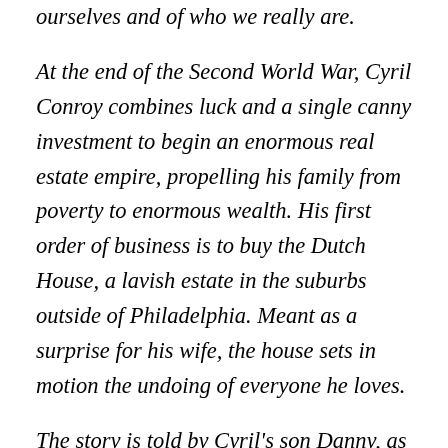ourselves and of who we really are.
At the end of the Second World War, Cyril Conroy combines luck and a single canny investment to begin an enormous real estate empire, propelling his family from poverty to enormous wealth. His first order of business is to buy the Dutch House, a lavish estate in the suburbs outside of Philadelphia. Meant as a surprise for his wife, the house sets in motion the undoing of everyone he loves.
The story is told by Cyril's son Danny, as he and his older sister, the brilliantly acerbic and self-assured Maeve, are exiled from the house where they grew up by their